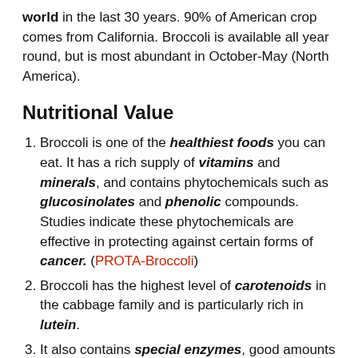world in the last 30 years. 90% of American crop comes from California. Broccoli is available all year round, but is most abundant in October-May (North America).
Nutritional Value
Broccoli is one of the healthiest foods you can eat. It has a rich supply of vitamins and minerals, and contains phytochemicals such as glucosinolates and phenolic compounds. Studies indicate these phytochemicals are effective in protecting against certain forms of cancer. (PROTA-Broccoli)
Broccoli has the highest level of carotenoids in the cabbage family and is particularly rich in lutein.
It also contains special enzymes, good amounts of beta carotene and vitamin c, which all help fight cancer.
Raw Broccoli is high in vitamin C and dietary fibre.